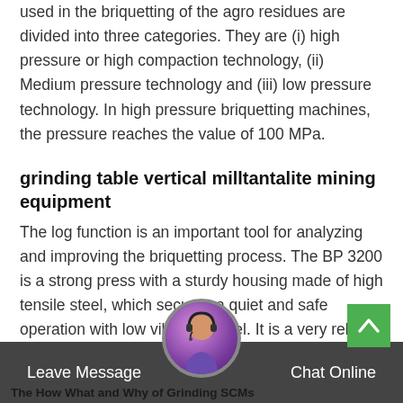used in the briquetting of the agro residues are divided into three categories. They are (i) high pressure or high compaction technology, (ii) Medium pressure technology and (iii) low pressure technology. In high pressure briquetting machines, the pressure reaches the value of 100 MPa.
grinding table vertical milltantalite mining equipment
The log function is an important tool for analyzing and improving the briquetting process. The BP 3200 is a strong press with a sturdy housing made of high tensile steel, which secures a quiet and safe operation with low vibration level. It is a very reliable press with a capacity up to 600 kg/h and produces a briquette with a diameter of 60 mm.
Leave Message | Chat Online | The How What and Why of Grinding SCMs